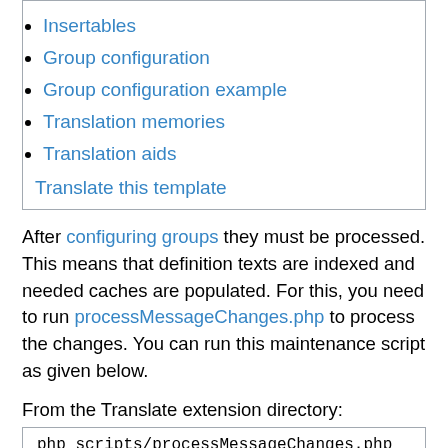Insertables
Group configuration
Group configuration example
Translation memories
Translation aids
Translate this template
After configuring groups they must be processed. This means that definition texts are indexed and needed caches are populated. For this, you need to run processMessageChanges.php to process the changes. You can run this maintenance script as given below.
From the Translate extension directory:
php scripts/processMessageChanges.php